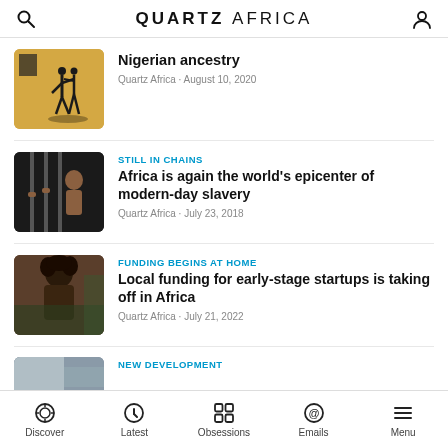QUARTZ AFRICA
Nigerian ancestry
Quartz Africa · August 10, 2020
STILL IN CHAINS
Africa is again the world's epicenter of modern-day slavery
Quartz Africa · July 23, 2018
FUNDING BEGINS AT HOME
Local funding for early-stage startups is taking off in Africa
Quartz Africa · July 21, 2022
NEW DEVELOPMENT
Discover | Latest | Obsessions | Emails | Menu